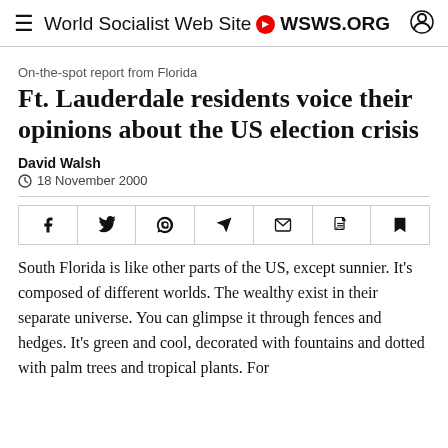World Socialist Web Site • WSWS.ORG
On-the-spot report from Florida
Ft. Lauderdale residents voice their opinions about the US election crisis
David Walsh
18 November 2000
[Figure (other): Social share buttons: Facebook, Twitter, WhatsApp, Telegram, Email, PDF, Bookmark]
South Florida is like other parts of the US, except sunnier. It's composed of different worlds. The wealthy exist in their separate universe. You can glimpse it through fences and hedges. It's green and cool, decorated with fountains and dotted with palm trees and tropical plants. For